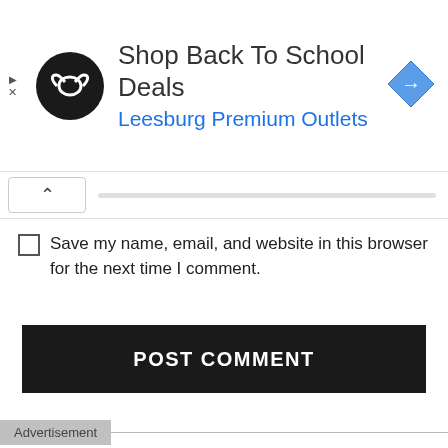[Figure (screenshot): Advertisement banner: black circular logo with infinity-like symbol, text 'Shop Back To School Deals' and 'Leesburg Premium Outlets' in blue, blue diamond arrow icon on the right. Small play/close ad controls on left.]
[Figure (screenshot): Collapse/scroll UI bar with a caret-up button on the left and a horizontal scroll indicator bar.]
Save my name, email, and website in this browser for the next time I comment.
[Figure (screenshot): POST COMMENT button — black background with white bold uppercase text.]
Advertisement